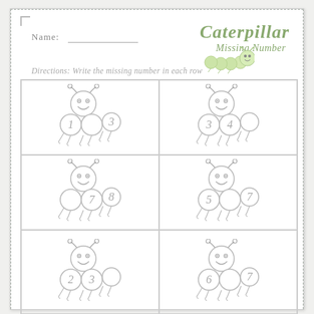Name:
Caterpillar Missing Number
Directions: Write the missing number in each row
[Figure (illustration): Caterpillar worksheet with 6 caterpillar figures in a 2x3 grid, each having 3 body segments with numbers. Missing numbers: row1: 1,_,3 and 3,4,_; row2: _,7,8 and 5,_,7; row3: 2,3,_ and 6,_,7]
| Caterpillar: 1, _, 3 | Caterpillar: 3, 4, _ |
| Caterpillar: _, 7, 8 | Caterpillar: 5, _, 7 |
| Caterpillar: 2, 3, _ | Caterpillar: 6, _, 7 |